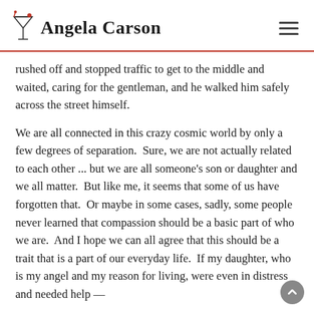Angela Carson
rushed off and stopped traffic to get to the middle and waited, caring for the gentleman, and he walked him safely across the street himself.
We are all connected in this crazy cosmic world by only a few degrees of separation.  Sure, we are not actually related to each other ... but we are all someone's son or daughter and we all matter.  But like me, it seems that some of us have forgotten that.  Or maybe in some cases, sadly, some people never learned that compassion should be a basic part of who we are.  And I hope we can all agree that this should be a trait that is a part of our everyday life.  If my daughter, who is my angel and my reason for living, were even in distress and needed help —